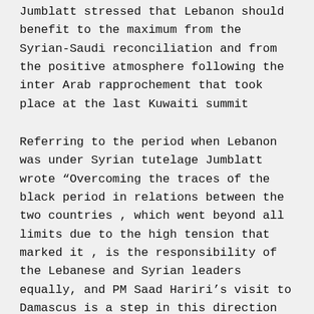Jumblatt stressed that Lebanon should benefit to the maximum from the Syrian-Saudi reconciliation and from the positive atmosphere following the inter Arab rapprochement that took place at the last Kuwaiti summit
Referring to the period when Lebanon was under Syrian tutelage Jumblatt wrote “Overcoming the traces of the black period in relations between the two countries , which went beyond all limits due to the high tension that marked it , is the responsibility of the Lebanese and Syrian leaders equally, and PM Saad Hariri’s visit to Damascus is a step in this direction and helped substantially in fulfilling this goal.”
Referring to the issue of assassination that started with